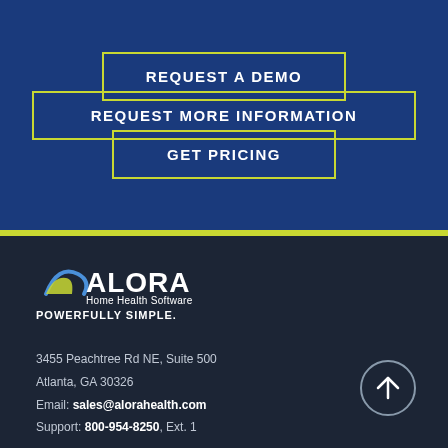REQUEST A DEMO
REQUEST MORE INFORMATION
GET PRICING
[Figure (logo): Alora Home Health Software logo with tagline POWERFULLY SIMPLE.]
3455 Peachtree Rd NE, Suite 500
Atlanta, GA 30326
Email: sales@alorahealth.com
Support: 800-954-8250, Ext. 1